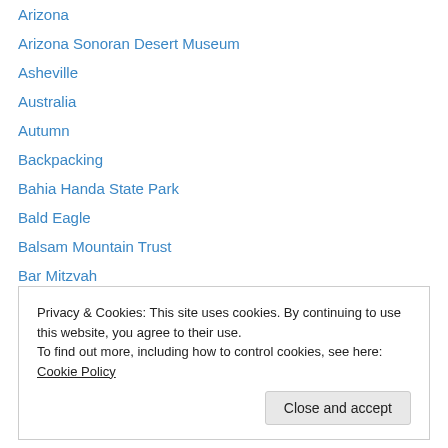Arizona
Arizona Sonoran Desert Museum
Asheville
Australia
Autumn
Backpacking
Bahia Handa State Park
Bald Eagle
Balsam Mountain Trust
Bar Mitzvah
Big Horn Mountains
Bisbee
Bison
Privacy & Cookies: This site uses cookies. By continuing to use this website, you agree to their use.
To find out more, including how to control cookies, see here: Cookie Policy
California